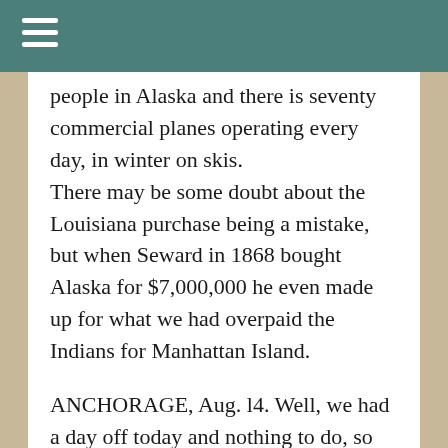people in Alaska and there is seventy commercial planes operating every day, in winter on skis.
There may be some doubt about the Louisiana purchase being a mistake, but when Seward in 1868 bought Alaska for $7,000,000 he even made up for what we had overpaid the Indians for Manhattan Island.
ANCHORAGE, Aug. l4. Well, we had a day off today and nothing to do, so we went flying with Joe Crosson, Alaska's crack pilot, who is a great friend of Wiley's... In a Lockheed Electra we scaled Mount McKinley, the highest one on the American Continent. Bright sunny day and the most beautiful sight